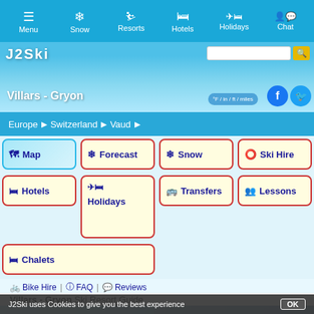Menu | Snow | Resorts | Hotels | Holidays | Chat
[Figure (screenshot): Hero banner with mountain/snow background showing Villars - Gryon title, search bar, °F/in/ft/miles button, Facebook and Twitter social icons]
Europe > Switzerland > Vaud
Map
Forecast
Snow
Ski Hire
Hotels
Holidays
Transfers
Lessons
Chalets
Bike Hire | FAQ | Reviews
Villars - Gryon Ski Resort Guide
J2Ski uses Cookies to give you the best experience  OK